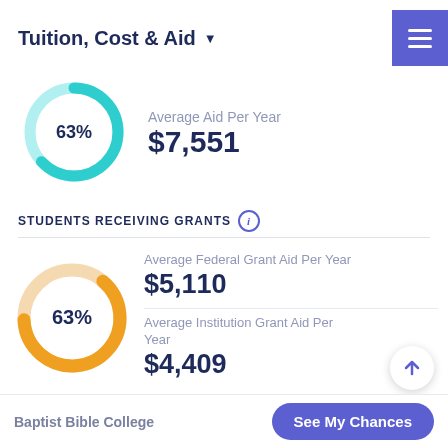Tuition, Cost & Aid
[Figure (donut-chart): Average Aid Per Year]
Average Aid Per Year $7,551
STUDENTS RECEIVING GRANTS
[Figure (donut-chart): Students Receiving Grants]
Average Federal Grant Aid Per Year $5,110
Average Institution Grant Aid Per Year $4,409
Baptist Bible College  See My Chances